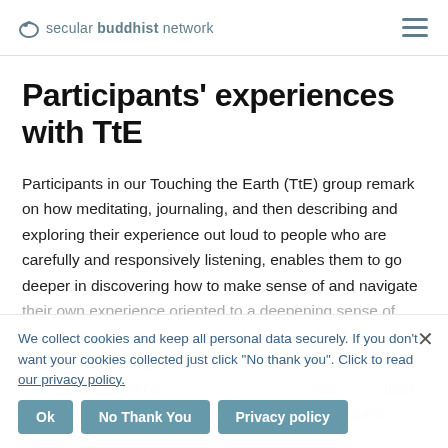secular buddhist network
Participants' experiences with TtE
Participants in our Touching the Earth (TtE) group remark on how meditating, journaling, and then describing and exploring their experience out loud to people who are carefully and responsively listening, enables them to go deeper in discovering how to make sense of and navigate their own experience oriented to a deepening sense of what matters to them and what works best for them. A participant recently remarked how this seemed to provide "a fresh revelation each time" because people than "treating each other as separate islands." Participants
We collect cookies and keep all personal data securely. If you don't want your cookies collected just click "No thank you". Click to read our privacy policy.